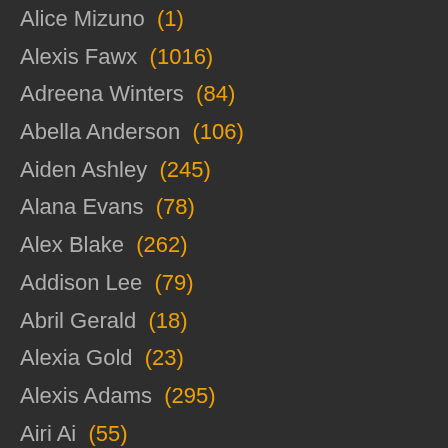Alice Mizuno (1)
Alexis Fawx (1016)
Adreena Winters (84)
Abella Anderson (106)
Aiden Ashley (245)
Alana Evans (78)
Alex Blake (262)
Addison Lee (79)
Abril Gerald (18)
Alexia Gold (23)
Alexis Adams (295)
Airi Ai (55)
Alice Frost (41)
Abbie Cat (85)
Akane Ozora (7)
Alicia Poz (24)